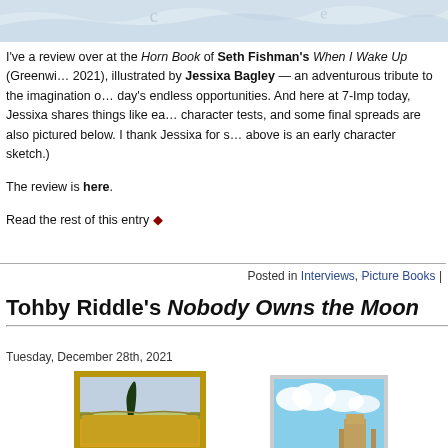[Figure (photo): Top banner image with light blue/grey watercolor or textured background]
I've a review over at the Horn Book of Seth Fishman's When I Wake Up (Greenwillow, 2021), illustrated by Jessixa Bagley — an adventurous tribute to the imagination of a day's endless opportunities. And here at 7-Imp today, Jessixa shares things like early character tests, and some final spreads are also pictured below. I thank Jessixa for s... above is an early character sketch.)
The review is here.
Read the rest of this entry ◆
Posted in Interviews, Picture Books |
Tohby Riddle's Nobody Owns the Moon
Tuesday, December 28th, 2021
[Figure (photo): Framed painting resembling Van Gogh style with a cypress tree in a wheat field]
[Figure (photo): Partially visible framed painting showing blue sky with clouds and a tower or building]